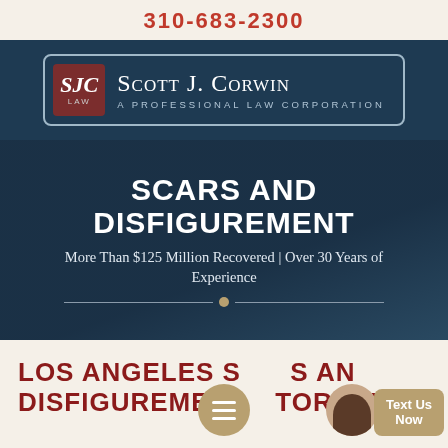310-683-2300
[Figure (logo): Scott J. Corwin A Professional Law Corporation logo with SJC LAW badge on dark navy background]
SCARS AND DISFIGUREMENT
More Than $125 Million Recovered | Over 30 Years of Experience
LOS ANGELES SCARS AND DISFIGUREMENT ATTORNEY